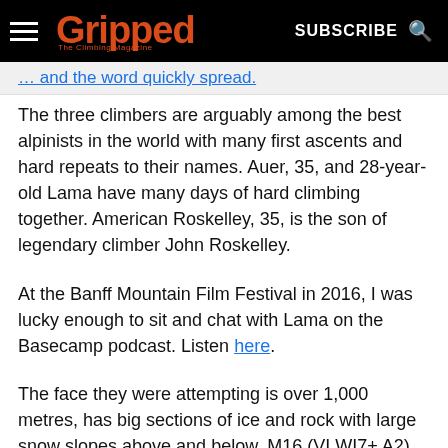Gripped — The Climbing Magazine | SUBSCRIBE
… and the word quickly spread.
The three climbers are arguably among the best alpinists in the world with many first ascents and hard repeats to their names. Auer, 35, and 28-year-old Lama have many days of hard climbing together. American Roskelley, 35, is the son of legendary climber John Roskelley.
At the Banff Mountain Film Festival in 2016, I was lucky enough to sit and chat with Lama on the Basecamp podcast. Listen here.
The face they were attempting is over 1,000 metres, has big sections of ice and rock with large snow slopes above and below. M16 (VI WI7+ A2) was first climbed by Barry Blanchard, Scott Backes and Steve House in 1999.